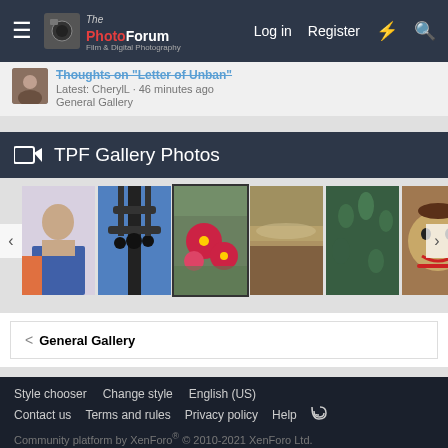The PhotoForum — Film & Digital Photography | Log in | Register
Latest: CherylL · 46 minutes ago
General Gallery
TPF Gallery Photos
[Figure (photo): Gallery photo strip showing 6 thumbnail photos: person, tower/antenna, red flowers on plant, landscape/sky, green field, face made of food]
< General Gallery
Style chooser   Change style   English (US)
Contact us   Terms and rules   Privacy policy   Help
Community platform by XenForo® © 2010-2021 XenForo Ltd.